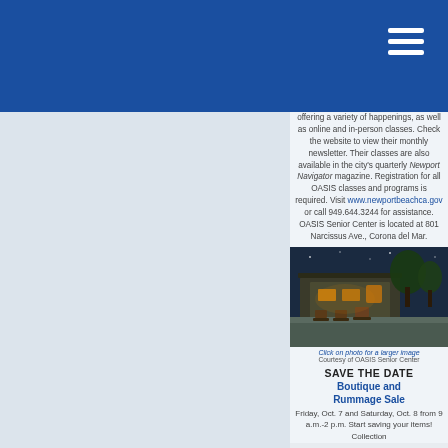offering a variety of happenings, as well as online and in-person classes. Check the website to view their monthly newsletter. Their classes are also available in the city's quarterly Newport Navigator magazine. Registration for all OASIS classes and programs is required. Visit www.newportbeachca.gov or call 949.644.3244 for assistance. OASIS Senior Center is located at 801 Narcissus Ave., Corona del Mar.
[Figure (photo): Exterior evening photo of OASIS Senior Center with outdoor seating, warm ambient lighting, and trees]
Click on photo for a larger image
Courtesy of OASIS Senior Center
SAVE THE DATE Boutique and Rummage Sale
Friday, Oct. 7 and Saturday, Oct. 8 from 9 a.m.-2 p.m. Start saving your items! Collection